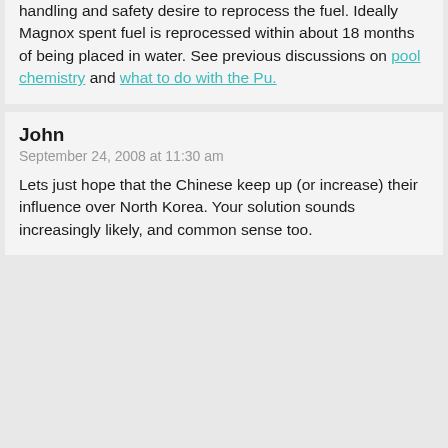handling and safety desire to reprocess the fuel. Ideally Magnox spent fuel is reprocessed within about 18 months of being placed in water. See previous discussions on pool chemistry and what to do with the Pu.
John
September 24, 2008 at 11:30 am
Lets just hope that the Chinese keep up (or increase) their influence over North Korea. Your solution sounds increasingly likely, and common sense too.